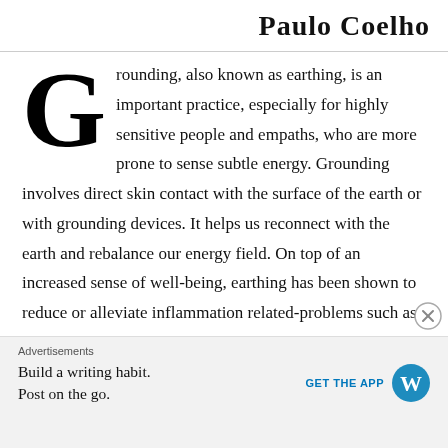Paulo Coelho
Grounding, also known as earthing, is an important practice, especially for highly sensitive people and empaths, who are more prone to sense subtle energy. Grounding involves direct skin contact with the surface of the earth or with grounding devices. It helps us reconnect with the earth and rebalance our energy field. On top of an increased sense of well-being, earthing has been shown to reduce or alleviate inflammation related-problems such as
Advertisements
Build a writing habit.
Post on the go.
GET THE APP